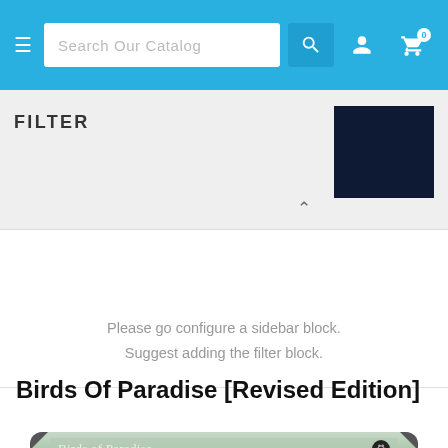Search Our Catalog
FILTER
Please go configure a sidebar block.
Suggest adding the filter block.
Birds Of Paradise [Revised Edition]
[Figure (photo): Birds of Paradise Magic: The Gathering card from Revised Edition showing a volcanic island with a bird silhouette and red wing feathers in the foreground]